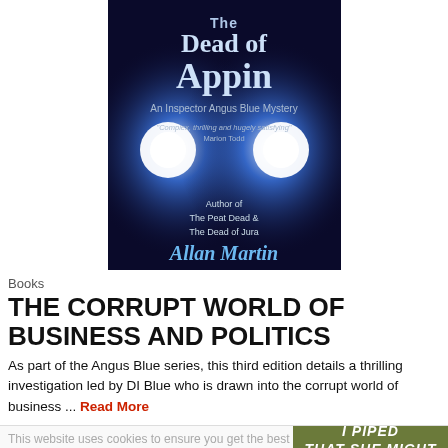[Figure (photo): Book cover of 'The Dead of Appin' - An Inspector Angus Blue Mystery by Allan Martin. Dark blue cover with bright headlights/spotlights. Text includes quote 'Complex, thrilling and hugely satisfying' Marion Todd. Also states 'Author of The Peat Dead & The Dead of Jura'.]
Books
THE CORRUPT WORLD OF BUSINESS AND POLITICS
As part of the Angus Blue series, this third edition details a thrilling investigation led by DI Blue who is drawn into the corrupt world of business ... Read More
[Figure (photo): Partial view of another book cover 'I PIPED THAT SHE MIGHT DANCE' with an olive/green cover, partially overlaid by a cookie consent bar with 'Got it!' button and yellow background notification.]